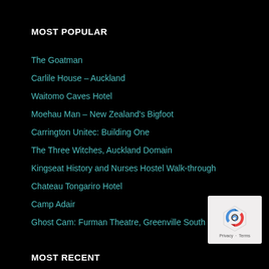MOST POPULAR
The Goatman
Carlile House – Auckland
Waitomo Caves Hotel
Moehau Man – New Zealand's Bigfoot
Carrington Unitec: Building One
The Three Witches, Auckland Domain
Kingseat History and Nurses Hostel Walk-through
Chateau Tongariro Hotel
Camp Adair
Ghost Cam: Furman Theatre, Greenville South Carolina
[Figure (logo): Google reCAPTCHA logo with Privacy and Terms text]
MOST RECENT